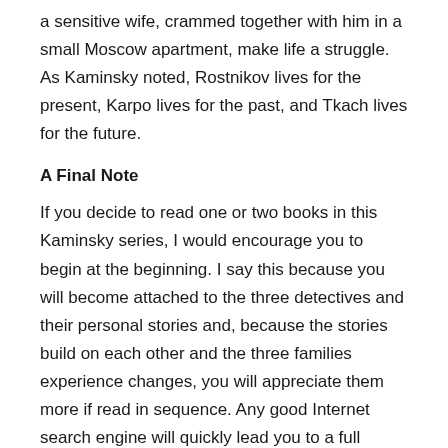a sensitive wife, crammed together with him in a small Moscow apartment, make life a struggle. As Kaminsky noted, Rostnikov lives for the present, Karpo lives for the past, and Tkach lives for the future.
A Final Note
If you decide to read one or two books in this Kaminsky series, I would encourage you to begin at the beginning. I say this because you will become attached to the three detectives and their personal stories and, because the stories build on each other and the three families experience changes, you will appreciate them more if read in sequence. Any good Internet search engine will quickly lead you to a full listing of these fourteen novels. I have gained insights about life in Russia from these books, plus I like a good story – and Kaminsky writes good detective stories! I am waiting impatiently for the next one.